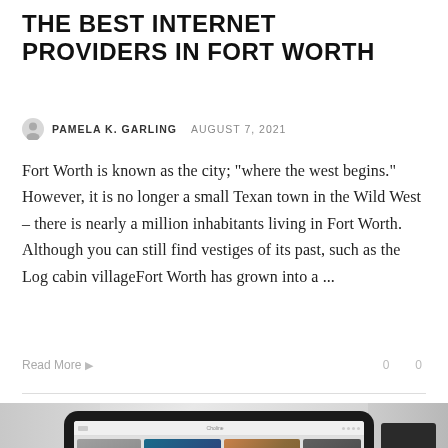THE BEST INTERNET PROVIDERS IN FORT WORTH
PAMELA K. GARLING  AUGUST 7, 2021
Fort Worth is known as the city; “where the west begins.” However, it is no longer a small Texan town in the Wild West – there is nearly a million inhabitants living in Fort Worth. Although you can still find vestiges of its past, such as the Log cabin villageFort Worth has grown into a ...
Read More
[Figure (photo): A tablet/laptop device displaying a photo gallery website called 'Choline', showing multiple colorful photographs including a dark abstract, blue textured, multicolored abstract, and dark abstract images. The device is set against a blurred office background with white furniture and a monitor visible on the right.]